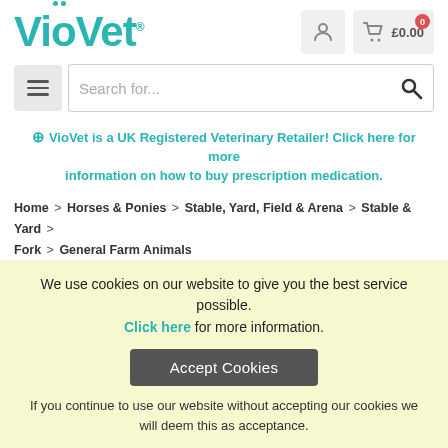[Figure (logo): VioVet logo in teal/turquoise with stylized dots above the i and o]
[Figure (screenshot): User account icon button and shopping cart icon with £0.00 price and red badge showing 0]
[Figure (screenshot): Hamburger menu button and search bar with Search for... placeholder text and search icon]
⊕ VioVet is a UK Registered Veterinary Retailer! Click here for more information on how to buy prescription medication.
Home > Horses & Ponies > Stable, Yard, Field & Arena > Stable & Yard > Fork > General Farm Animals
Fynalite Shaving Fork Wooden Handle
We use cookies on our website to give you the best service possible. Click here for more information.
Accept Cookies
If you continue to use our website without accepting our cookies we will deem this as acceptance.